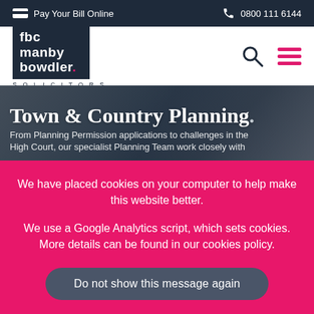Pay Your Bill Online   0800 111 6144
[Figure (logo): fbc manby bowdler SOLICITORS logo - dark navy background with white text and pink dot]
Town & Country Planning.
From Planning Permission applications to challenges in the High Court, our specialist Planning Team work closely with...
We have placed cookies on your computer to help make this website better.
We use a Google Analytics script, which sets cookies. More details can be found in our cookies policy.
Do not show this message again